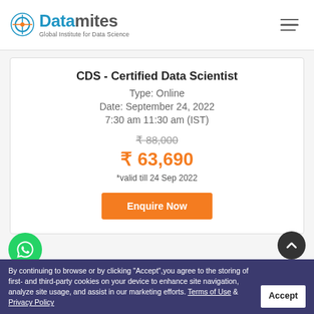Datamites - Global Institute for Data Science
CDS - Certified Data Scientist
Type: Online
Date: September 24, 2022
7:30 am 11:30 am (IST)
₹ 88,000 (original price, strikethrough)
₹ 63,690
*valid till 24 Sep 2022
Enquire Now
By continuing to browse or by clicking "Accept",you agree to the storing of first- and third-party cookies on your device to enhance site navigation, analyze site usage, and assist in our marketing efforts. Terms of Use & Privacy Policy
Accept